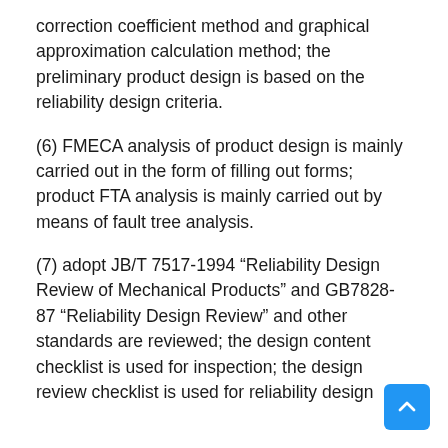correction coefficient method and graphical approximation calculation method; the preliminary product design is based on the reliability design criteria.
(6) FMECA analysis of product design is mainly carried out in the form of filling out forms; product FTA analysis is mainly carried out by means of fault tree analysis.
(7) adopt JB/T 7517-1994 “Reliability Design Review of Mechanical Products” and GB7828-87 “Reliability Design Review” and other standards are reviewed; the design content checklist is used for inspection; the design review checklist is used for reliability design